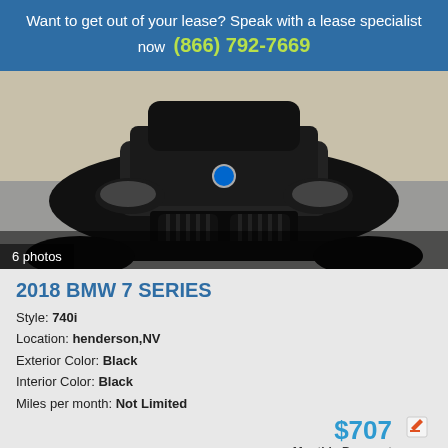Want to get out of your lease? Speak with a lease specialist now (866) 792-7669
[Figure (photo): Front view of a black 2018 BMW 7 Series sedan, with label '6 photos']
2018 BMW 7 SERIES
Style: 740i
Location: henderson,NV
Exterior Color: Black
Interior Color: Black
Miles per month: Not Limited
$707 Monthly Payment
72 Loan Term
[Figure (photo): Partial bottom thumbnail of another vehicle listing]